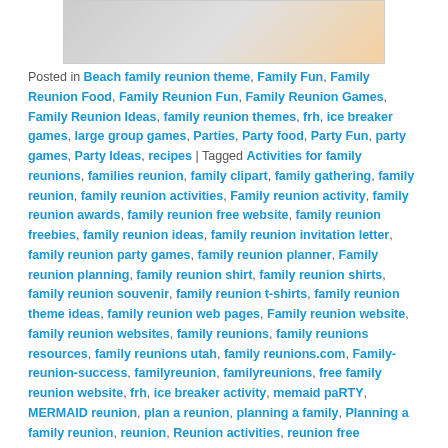[Figure (photo): Partial image of family reunion themed items at top of page]
Posted in Beach family reunion theme, Family Fun, Family Reunion Food, Family Reunion Fun, Family Reunion Games, Family Reunion Ideas, family reunion themes, frh, ice breaker games, large group games, Parties, Party food, Party Fun, party games, Party Ideas, recipes | Tagged Activities for family reunions, families reunion, family clipart, family gathering, family reunion, family reunion activities, Family reunion activity, family reunion awards, family reunion free website, family reunion freebies, family reunion ideas, family reunion invitation letter, family reunion party games, family reunion planner, Family reunion planning, family reunion shirt, family reunion shirts, family reunion souvenir, family reunion t-shirts, family reunion theme ideas, family reunion web pages, Family reunion website, family reunion websites, family reunions, family reunions resources, family reunions utah, family reunions.com, Family-reunion-success, familyreunion, familyreunions, free family reunion website, frh, ice breaker activity, memaid paRTY, MERMAID reunion, plan a reunion, planning a family, Planning a family reunion, reunion, Reunion activities, reunion free